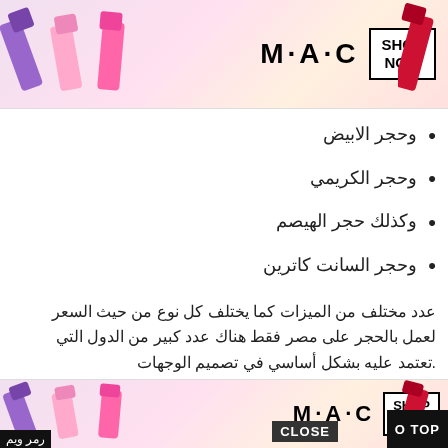[Figure (photo): MAC cosmetics advertisement banner at top with lipsticks, MAC logo, and SHOP NOW button]
• وحجر الابيض
• وحجر الكريمي
• وكذلك حجر الهيصم
• وحجر السانت كاترين
عدد مختلف من الميزات كما يختلف كل نوع من حيث السعر لعمل بالحجر على مصر فقط هناك عدد كبير من الدول التي .تعتمد عليه بشكل أساسي في تصميم الوجهات
الحجر هاشمي هيصم:
حجر هاشمي هيصم
شمي أنه من الأحجار السهلة من حيث الصيانة وبمكن إعادتها طرق بسيطة وبمكن للعميل ذاته تنظيفه من خلال الغسل .بالمياه العادية حسب الموديلات التي يحتاجها العميل وتصلح الوجهات لتكون مجمعات وحدة المظهر الخارجي من حيث التصميم،
[Figure (photo): MAC cosmetics advertisement banner at bottom with lipsticks, MAC logo, SHOP NOW button, CLOSE button, and GO TO TOP button]